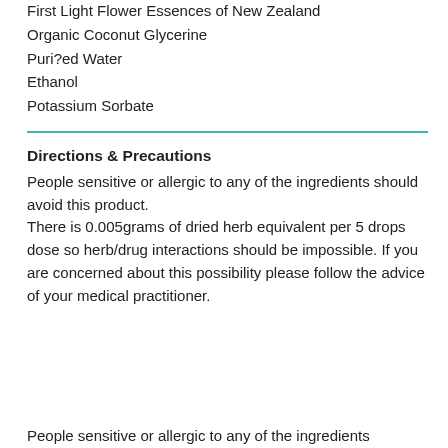First Light Flower Essences of New Zealand
Organic Coconut Glycerine
Puri?ed Water
Ethanol
Potassium Sorbate
Directions & Precautions
People sensitive or allergic to any of the ingredients should avoid this product.
There is 0.005grams of dried herb equivalent per 5 drops dose so herb/drug interactions should be impossible. If you are concerned about this possibility please follow the advice of your medical practitioner.
People sensitive or allergic to any of the ingredients